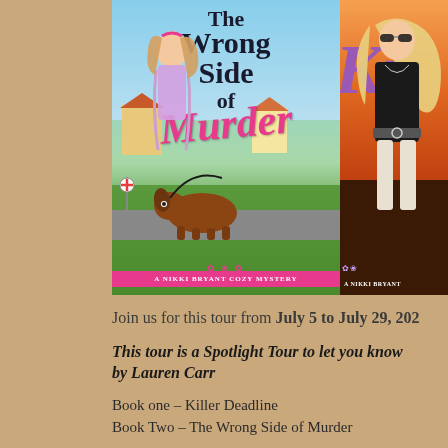[Figure (illustration): Two book covers side by side for the Nikki Bryant Cozy Mystery series by Lauren Carr. Left: 'The Wrong Side of Murder' showing a girl with a dog on a colorful suburban street. Right: Partially visible cover starting with 'Ki...' showing a blonde woman in black outfit against orange/red background.]
Join us for this tour from July 5 to July 29, 202...
This tour is a Spotlight Tour to let you know... by Lauren Carr
Book one – Killer Deadline
Book Two – The Wrong Side of Murder